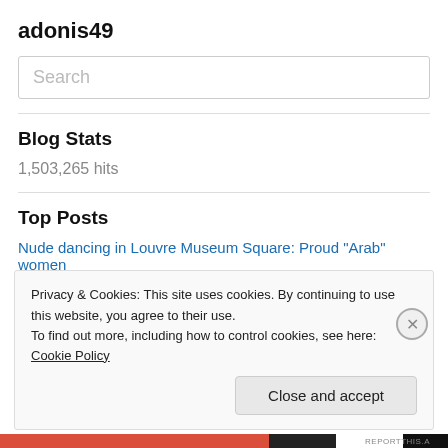adonis49
Search
Blog Stats
1,503,265 hits
Top Posts
Nude dancing in Louvre Museum Square: Proud "Arab" women
Privacy & Cookies: This site uses cookies. By continuing to use this website, you agree to their use.
To find out more, including how to control cookies, see here: Cookie Policy
Close and accept